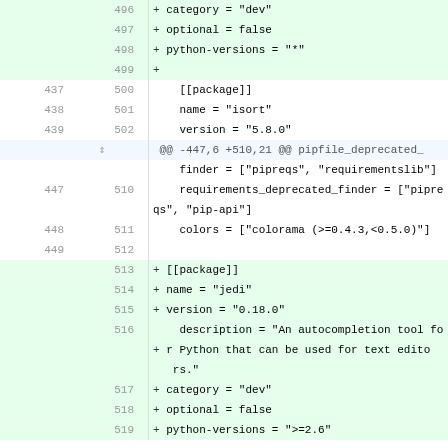Diff view of a configuration file (poetry.lock or similar), showing added and context lines for package entries including isort, jedi, and others.